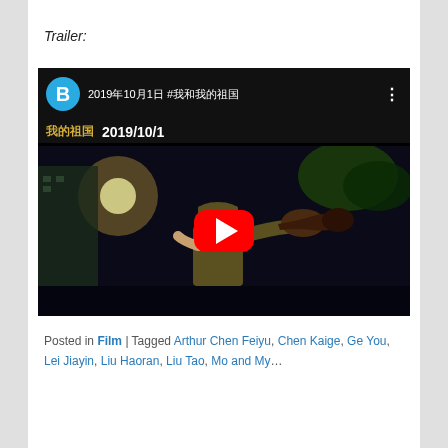Trailer:
[Figure (screenshot): YouTube video thumbnail showing a soldier playing a trumpet at night, with a video overlay bar at top showing channel avatar 'B', title '2019年10月1日 #我和我的祖国', date '2019/10/1', and a red YouTube play button in the center.]
Posted in Film | Tagged Arthur Chen Feiyu, Chen Kaige, Ge You, Lei Jiayin, Liu Haoran, Liu Tao, Mo and My...